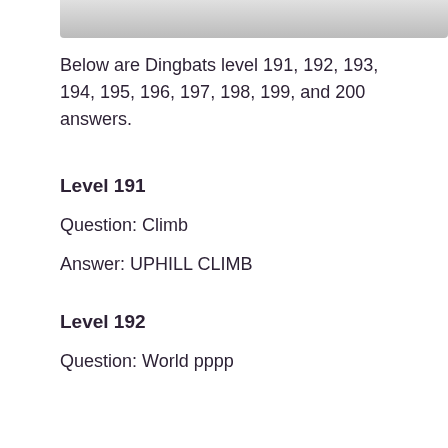[Figure (illustration): Partial image visible at top of page, gray/cropped]
Below are Dingbats level 191, 192, 193, 194, 195, 196, 197, 198, 199, and 200 answers.
Level 191
Question: Climb
Answer: UPHILL CLIMB
Level 192
Question: World pppp